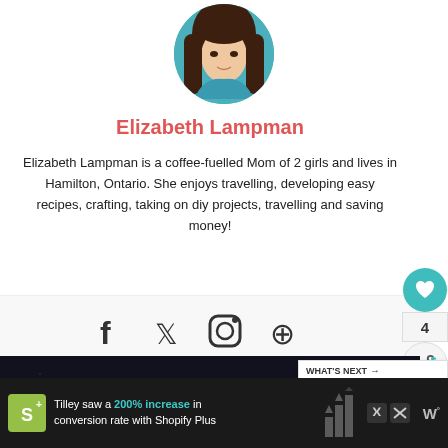[Figure (photo): Circular profile photo of Elizabeth Lampman, a woman with long brown hair wearing a teal jacket]
Elizabeth Lampman
Elizabeth Lampman is a coffee-fuelled Mom of 2 girls and lives in Hamilton, Ontario. She enjoys travelling, developing easy recipes, crafting, taking on diy projects, travelling and saving money!
[Figure (other): Social media icons: Facebook, Twitter, Instagram, Pinterest]
[Figure (other): SHE CAN STEM dark banner advertisement]
[Figure (other): What's Next panel: No-Churn Birthday Ca...]
[Figure (other): Shopify Plus advertisement bar: Tilley saw a 200% increase in conversion rate with Shopify Plus]